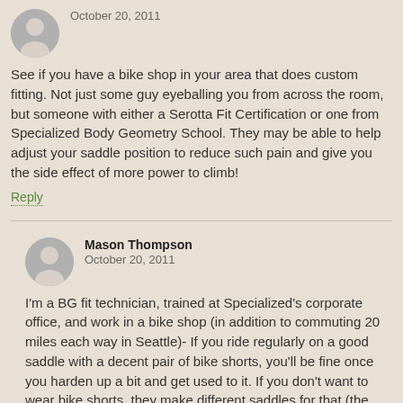[Figure (illustration): Gray circular avatar placeholder with silhouette of a person]
October 20, 2011
See if you have a bike shop in your area that does custom fitting. Not just some guy eyeballing you from across the room, but someone with either a Serotta Fit Certification or one from Specialized Body Geometry School. They may be able to help adjust your saddle position to reduce such pain and give you the side effect of more power to climb!
Reply
[Figure (illustration): Gray circular avatar placeholder with silhouette of a person]
Mason Thompson
October 20, 2011
I'm a BG fit technician, trained at Specialized's corporate office, and work in a bike shop (in addition to commuting 20 miles each way in Seattle)- If you ride regularly on a good saddle with a decent pair of bike shorts, you'll be fine once you harden up a bit and get used to it. If you don't want to wear bike shorts, they make different saddles for that (the specialized "targa" is very nice.) If you wander into a good bike shop with a good fitter, all Mike's excuses will conveniently match...